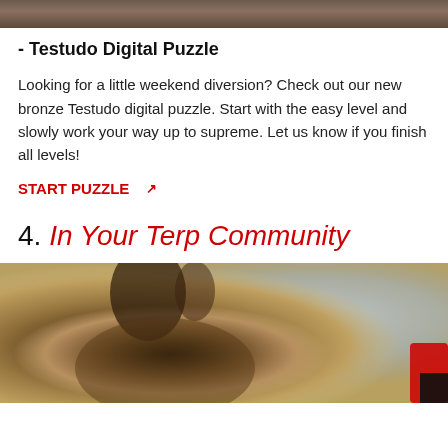[Figure (photo): Partial top image, cropped, showing a dark textured background — appears to be bottom edge of a previous photo.]
- Testudo Digital Puzzle
Looking for a little weekend diversion? Check out our new bronze Testudo digital puzzle. Start with the easy level and slowly work your way up to supreme. Let us know if you finish all levels!
START PUZZLE ↗
4. In Your Terp Community
[Figure (photo): Photo of a French bulldog looking up at the camera, with blurred background featuring warm brown and blue tones. There appears to be a red and black object partially visible on the right edge.]